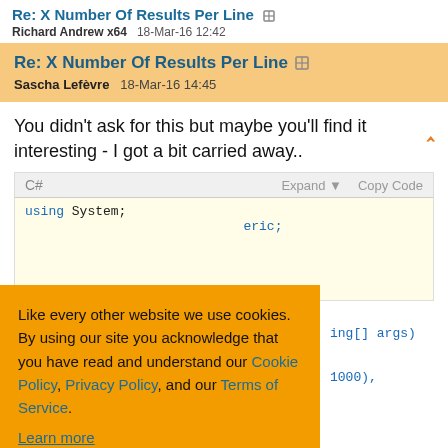Re: X Number Of Results Per Line
Richard Andrew x64   18-Mar-16 12:42
Re: X Number Of Results Per Line
Sascha Lefèvre   18-Mar-16 14:45
You didn't ask for this but maybe you'll find it interesting - I got a bit carried away..
C#   Expand ▼   Copy Code
using System;
...eric;
Like every other website we use cookies. By using our site you acknowledge that you have read and understand our Cookie Policy, Privacy Policy, and our Terms of Service. Learn more
Ask me later   Decline   Allow cookies
...ng[] args)
...1000),
10);